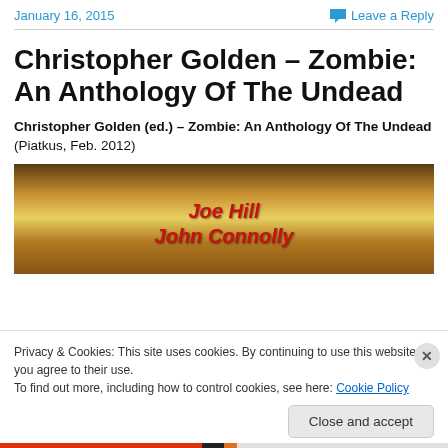January 16, 2015    Leave a Reply
Christopher Golden – Zombie: An Anthology Of The Undead
Christopher Golden (ed.) – Zombie: An Anthology Of The Undead (Piatkus, Feb. 2012)
[Figure (photo): Book cover crop showing 'Joe Hill' and 'John Connolly' in red italic text on a dark golden/brown background]
Privacy & Cookies: This site uses cookies. By continuing to use this website, you agree to their use.
To find out more, including how to control cookies, see here: Cookie Policy